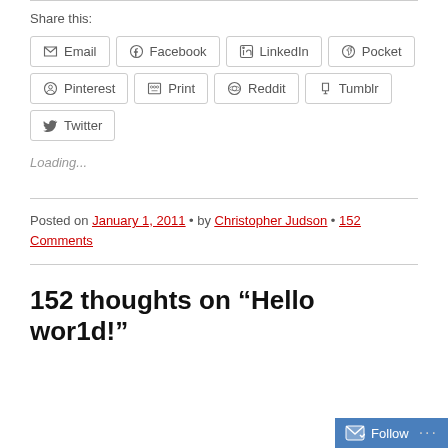Share this:
Email
Facebook
LinkedIn
Pocket
Pinterest
Print
Reddit
Tumblr
Twitter
Loading...
Posted on January 1, 2011 • by Christopher Judson • 152 Comments
152 thoughts on “Hello world!”